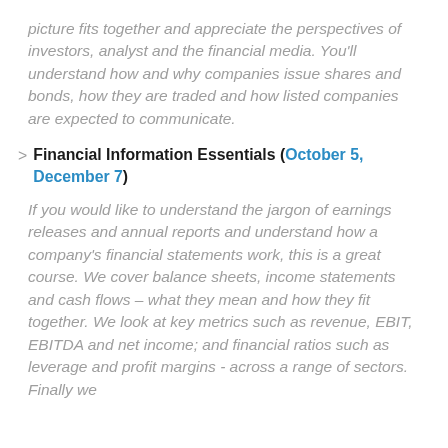picture fits together and appreciate the perspectives of investors, analyst and the financial media. You'll understand how and why companies issue shares and bonds, how they are traded and how listed companies are expected to communicate.
Financial Information Essentials (October 5, December 7)
If you would like to understand the jargon of earnings releases and annual reports and understand how a company's financial statements work, this is a great course. We cover balance sheets, income statements and cash flows – what they mean and how they fit together. We look at key metrics such as revenue, EBIT, EBITDA and net income; and financial ratios such as leverage and profit margins - across a range of sectors. Finally we